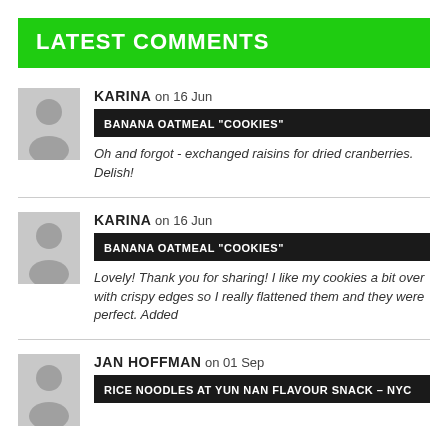LATEST COMMENTS
KARINA on 16 Jun
BANANA OATMEAL "COOKIES"
Oh and forgot - exchanged raisins for dried cranberries. Delish!
KARINA on 16 Jun
BANANA OATMEAL "COOKIES"
Lovely! Thank you for sharing! I like my cookies a bit over with crispy edges so I really flattened them and they were perfect. Added
JAN HOFFMAN on 01 Sep
RICE NOODLES AT YUN NAN FLAVOUR SNACK – NYC